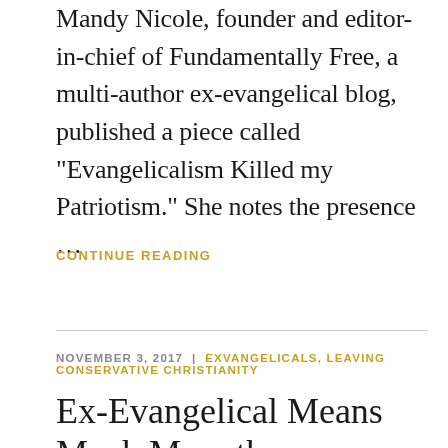Mandy Nicole, founder and editor-in-chief of Fundamentally Free, a multi-author ex-evangelical blog, published a piece called "Evangelicalism Killed my Patriotism." She notes the presence …
CONTINUE READING
NOVEMBER 3, 2017 | EXVANGELICALS, LEAVING CONSERVATIVE CHRISTIANITY
Ex-Evangelical Means Much More than Dropping a Label: A Response to Josiah Hesse